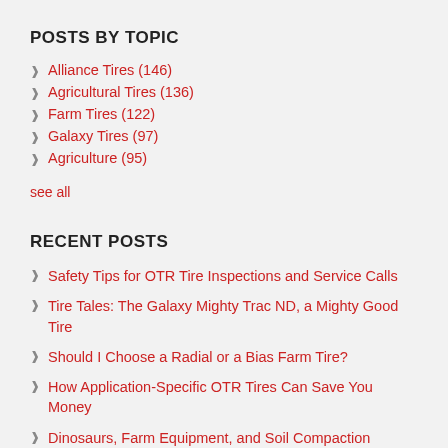POSTS BY TOPIC
Alliance Tires (146)
Agricultural Tires (136)
Farm Tires (122)
Galaxy Tires (97)
Agriculture (95)
see all
RECENT POSTS
Safety Tips for OTR Tire Inspections and Service Calls
Tire Tales: The Galaxy Mighty Trac ND, a Mighty Good Tire
Should I Choose a Radial or a Bias Farm Tire?
How Application-Specific OTR Tires Can Save You Money
Dinosaurs, Farm Equipment, and Soil Compaction